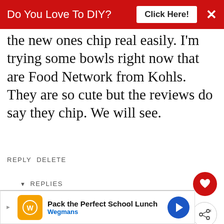[Figure (screenshot): Red banner advertisement: 'Do You Love To DIY? Click Here!' with X close button]
the new ones chip real easily. I'm trying some bowls right now that are Food Network from Kohls. They are so cute but the reviews do say they chip. We will see.
REPLY DELETE
▼ REPLIES
[Figure (illustration): Kim avatar - floral/botanical illustration logo]
Kim
SEPTEMBER 18, 2015 AT 7:44 AM
My Pottery Barn set chips too, but not a lot. It's pretty tough, but if the dishwasher
[Figure (photo): Small photo thumbnail for 'What's Next' - Springtime Tea For Two]
[Figure (screenshot): Bottom banner advertisement: Pack the Perfect School Lunch - Wegmans]
[Figure (illustration): Heart/like button (red circle with white heart icon)]
[Figure (illustration): Share button (circle with share icon)]